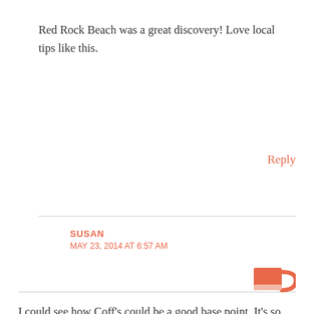Red Rock Beach was a great discovery! Love local tips like this.
Reply
SUSAN
MAY 23, 2014 AT 6:57 AM
I could see how Coff's could be a good base point. It's so close to such beautiful places: The Dorrigo Falls, butterfly sanctuary, blue beaches!
[Figure (illustration): Partial icon of a coffee mug or similar object in coral/pink color, partially cut off at bottom right corner]